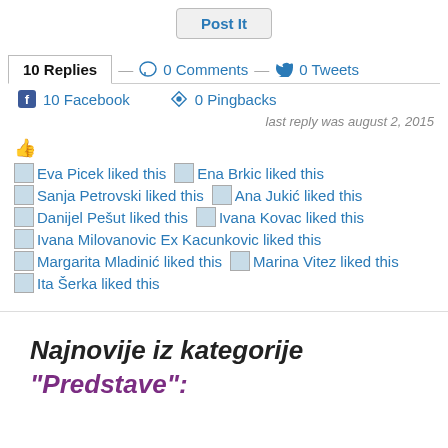Post It
10 Replies  0 Comments  0 Tweets  10 Facebook  0 Pingbacks
last reply was august 2, 2015
Eva Picek liked this  Ena Brkic liked this  Sanja Petrovski liked this  Ana Jukić liked this  Danijel Pešut liked this  Ivana Kovac liked this  Ivana Milovanovic Ex Kacunkovic liked this  Margarita Mladinić liked this  Marina Vitez liked this  Ita Šerka liked this
Najnovije iz kategorije "Predstave":